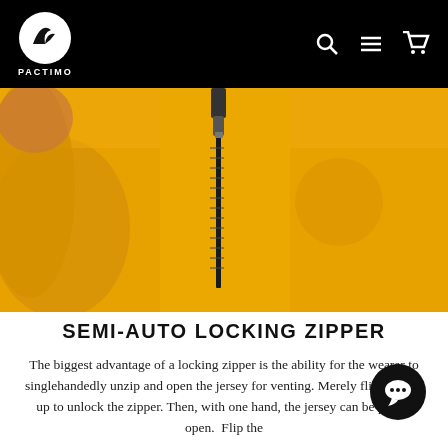PACTIMO navigation bar with logo, search, menu, and cart icons
[Figure (photo): Close-up photo of a person wearing a yellow cycling jersey with a black zipper running down the center front, and a faint Pactimo logo watermark on the chest.]
SEMI-AUTO LOCKING ZIPPER
The biggest advantage of a locking zipper is the ability for the wearer to singlehandedly unzip and open the jersey for venting. Merely flip the pull up to unlock the zipper. Then, with one hand, the jersey can be pulled open. Flip the